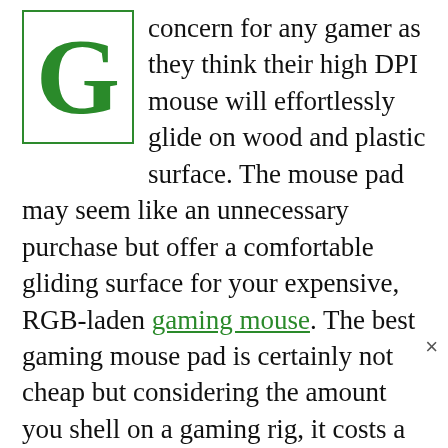concern for any gamer as they think their high DPI mouse will effortlessly glide on wood and plastic surface. The mouse pad may seem like an unnecessary purchase but offer a comfortable gliding surface for your expensive, RGB-laden gaming mouse. The best gaming mouse pad is certainly not cheap but considering the amount you shell on a gaming rig, it costs a fraction of that.

I have listed the best gaming mouse pad that